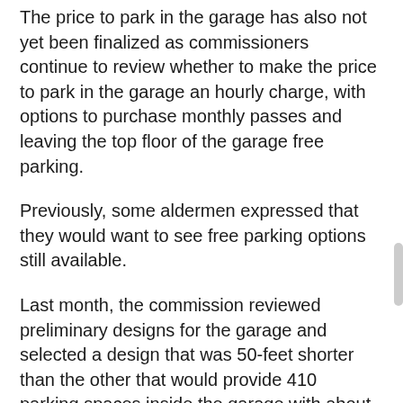The price to park in the garage has also not yet been finalized as commissioners continue to review whether to make the price to park in the garage an hourly charge, with options to purchase monthly passes and leaving the top floor of the garage free parking.
Previously, some aldermen expressed that they would want to see free parking options still available.
Last month, the commission reviewed preliminary designs for the garage and selected a design that was 50-feet shorter than the other that would provide 410 parking spaces inside the garage with about 81 surface parking spaces.